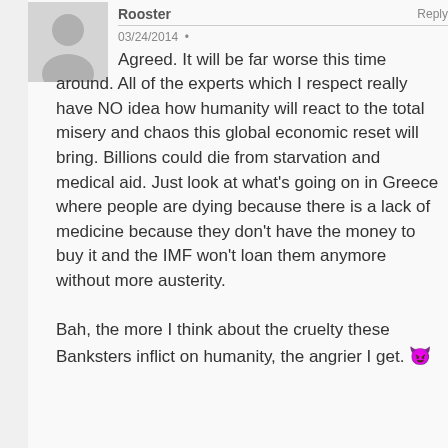[Figure (illustration): Gray placeholder avatar icon showing a silhouette of a person (head and shoulders) on a light gray background.]
Rooster
03/24/2014 •
Agreed. It will be far worse this time around. All of the experts which I respect really have NO idea how humanity will react to the total misery and chaos this global economic reset will bring. Billions could die from starvation and medical aid. Just look at what's going on in Greece where people are dying because there is a lack of medicine because they don't have the money to buy it and the IMF won't loan them anymore without more austerity.

Bah, the more I think about the cruelty these Banksters inflict on humanity, the angrier I get. 😈